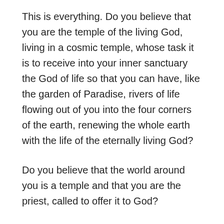This is everything. Do you believe that you are the temple of the living God, living in a cosmic temple, whose task it is to receive into your inner sanctuary the God of life so that you can have, like the garden of Paradise, rivers of life flowing out of you into the four corners of the earth, renewing the whole earth with the life of the eternally living God?
Do you believe that the world around you is a temple and that you are the priest, called to offer it to God?
Do you teach your students as though they are temples and priests – images of the God of